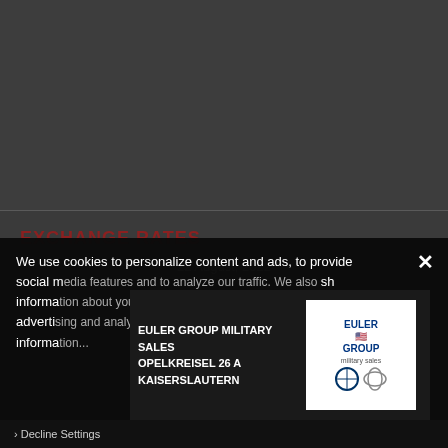[Figure (other): Dark gray background area representing a webpage header/content area above the Exchange Rates section]
EXCHANGE RATES
22 August, 2022
We use cookies to personalize content and ads, to provide social media features and to analyze our traffic. We also share information about your use of our site with our social media, advertising and analytics partners who may combine it with other information...
[Figure (advertisement): Euler Group Military Sales advertisement showing OPELKREISEL 26 A KAISERSLAUTERN with BMW car image and Euler Group logo with BMW and Mini logos]
› Decline Settings